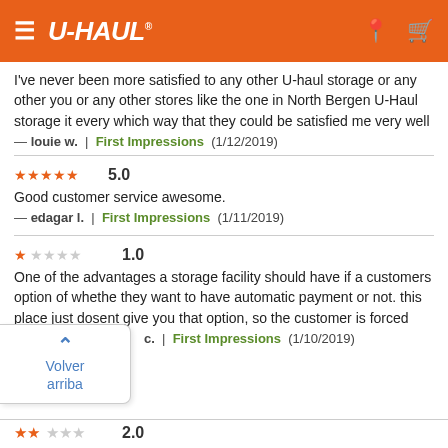U-HAUL
I've never been more satisfied to any other U-haul storage or any other you or any other stores like the one in North Bergen U-Haul storage it every which way that they could be satisfied me very well
— louie w.  |  First Impressions  (1/12/2019)
★★★★★ 5.0
Good customer service awesome.
— edagar l.  |  First Impressions  (1/11/2019)
★☆☆☆☆ 1.0
One of the advantages a storage facility should have if a customers option of whethe they want to have automatic payment or not. this place just dosent give you that option, so the customer is forced
c.  |  First Impressions  (1/10/2019)
★★☆☆☆ 2.0